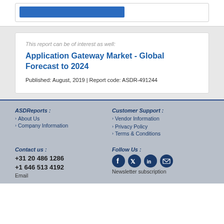[Figure (other): Blue button partially visible at top of page]
This report can be of interest as well:
Application Gateway Market - Global Forecast to 2024
Published: August, 2019 | Report code: ASDR-491244
ASDReports :
About Us
Company Information
Customer Support :
Vendor Information
Privacy Policy
Terms & Conditions
Contact us :
+31 20 486 1286
+1 646 513 4192
Email
Follow Us :
Newsletter subscription